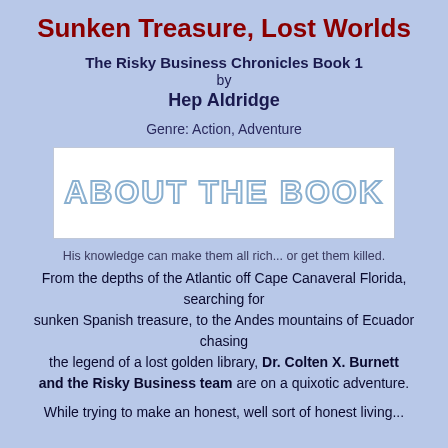Sunken Treasure, Lost Worlds
The Risky Business Chronicles Book 1
by
Hep Aldridge
Genre: Action, Adventure
[Figure (other): Banner reading ABOUT THE BOOK in outlined hollow letters on white background]
His knowledge can make them all rich... or get them killed.
From the depths of the Atlantic off Cape Canaveral Florida, searching for
sunken Spanish treasure, to the Andes mountains of Ecuador chasing
the legend of a lost golden library, Dr. Colten X. Burnett and the Risky Business team are on a quixotic adventure.

While trying to make an honest, well sort of honest living...